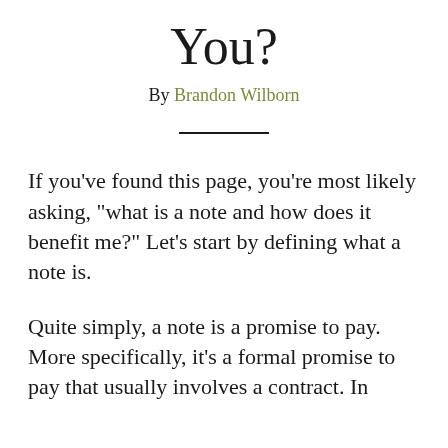You?
By Brandon Wilborn
If you’ve found this page, you’re most likely asking, “what is a note and how does it benefit me?” Let’s start by defining what a note is.
Quite simply, a note is a promise to pay. More specifically, it’s a formal promise to pay that usually involves a contract. In